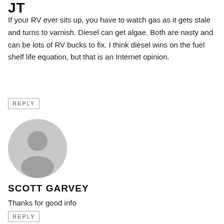JT
If your RV ever sits up, you have to watch gas as it gets stale and turns to varnish. Diesel can get algae. Both are nasty and can be lots of RV bucks to fix. I think diesel wins on the fuel shelf life equation, but that is an Internet opinion.
REPLY
[Figure (illustration): Generic user avatar icon — grey circle with silhouette of a person's head and shoulders]
SCOTT GARVEY
Thanks for good info
REPLY